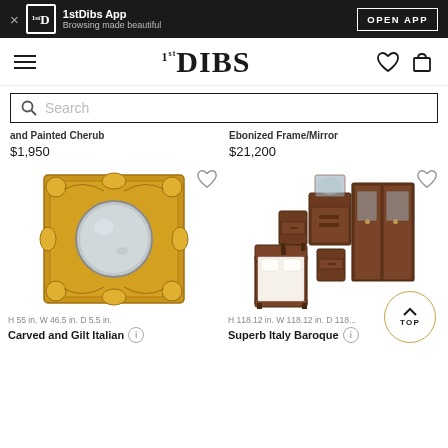1stDibs App - Browsing made beautiful - OPEN APP
[Figure (screenshot): 1stDibs website navigation header with hamburger menu, 1stDIBS logo, heart and cart icons]
Search
and Painted Cherub
$1,950
Ebonized Frame/Mirror
$21,200
[Figure (photo): Carved and Gilt Italian mirror with ornate gold frame and round circular mirror center]
[Figure (photo): Superb Italy Baroque bedroom furniture set in dark mahogany wood including wardrobe, dresser, nightstands and bed]
H 55 in. W 46.5 in. D 5.5 in.
H 118.12 in. W 118.12 in. D 118...
Carved and Gilt Italian
Superb Italy Baroque